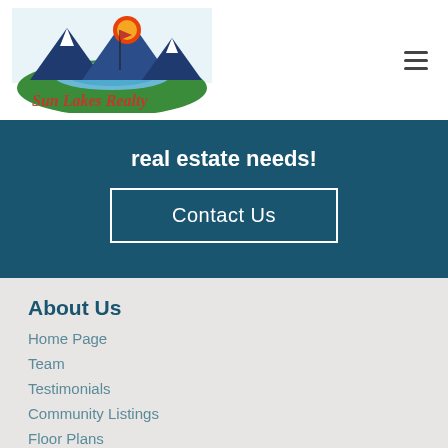[Figure (logo): Sun Lakes Realty logo with mountains, lake, sun, and script text]
real estate needs!
Contact Us
About Us
Home Page
Team
Testimonials
Community Listings
Floor Plans